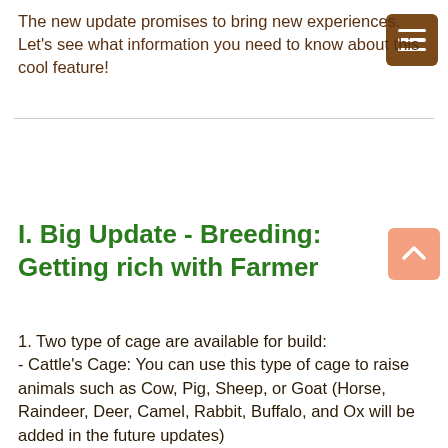The new update promises to bring new experiences. Let's see what information you need to know about this cool feature!
I. Big Update - Breeding: Getting rich with Farmer
1. Two type of cage are available for build:
- Cattle's Cage: You can use this type of cage to raise animals such as Cow, Pig, Sheep, or Goat (Horse, Raindeer, Deer, Camel, Rabbit, Buffalo, and Ox will be added in the future updates)
- Poultry's Cage: You can use this type of